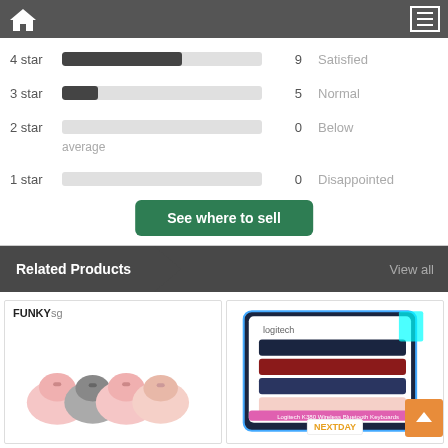Navigation bar with home icon and menu icon
4 star  9  Satisfied
3 star  5  Normal
2 star  0  Below average
1 star  0  Disappointed
See where to sell
Related Products    View all
[Figure (photo): FUNKYsg product card showing multiple computer mice in pink and dark colors with cartoon characters]
[Figure (photo): Logitech K380 Wireless Bluetooth Keyboards product card showing multiple colorful keyboards, with NEXTDAY badge]